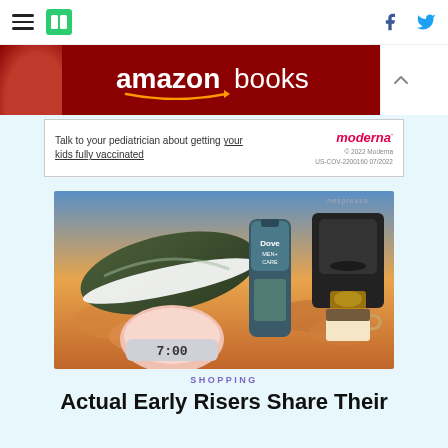HuffPost navigation header with hamburger menu, logo, Facebook and Twitter icons
[Figure (photo): Amazon Books advertisement banner with red background and woman reading a book on the left]
[Figure (photo): Moderna advertisement: Talk to your pediatrician about getting your kids fully vaccinated]
[Figure (photo): Shopping article hero image showing Nike shoes, Dove Men+Care body wash, sunrise alarm clock, and Nespresso coffee machine against sunset sky]
SHOPPING
Actual Early Risers Share Their